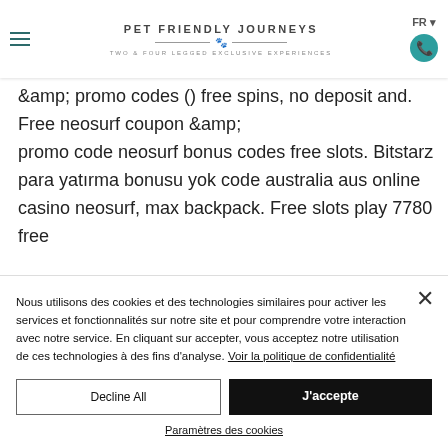[Figure (screenshot): Website navigation bar for 'Pet Friendly Journeys' with hamburger menu, logo, FR language selector, and phone icon]
&amp; promo codes () free spins, no deposit and. Free neosurf coupon &amp; promo code neosurf bonus codes free slots. Bitstarz para yatırma bonusu yok code australia aus online casino neosurf, max backpack. Free slots play 7780 free
Nous utilisons des cookies et des technologies similaires pour activer les services et fonctionnalités sur notre site et pour comprendre votre interaction avec notre service. En cliquant sur accepter, vous acceptez notre utilisation de ces technologies à des fins d'analyse. Voir la politique de confidentialité
Decline All
J'accepte
Paramètres des cookies